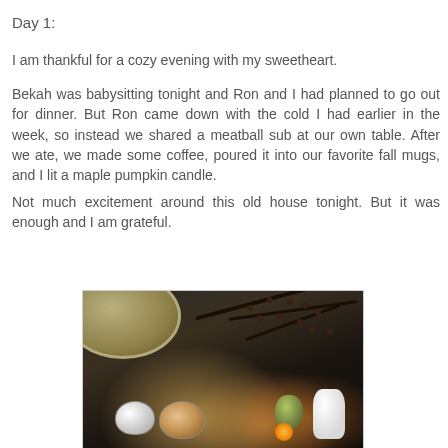Day 1:
I am thankful for a cozy evening with my sweetheart.
Bekah was babysitting tonight and Ron and I had planned to go out for dinner. But Ron came down with the cold I had earlier in the week, so instead we shared a meatball sub at our own table. After we ate, we made some coffee, poured it into our favorite fall mugs, and I lit a maple pumpkin candle.
Not much excitement around this old house tonight. But it was enough and I am grateful.
[Figure (photo): A cozy autumn table scene with candles, coffee cups, a small gourd, a white vase, and dark berry branches in soft candlelight]